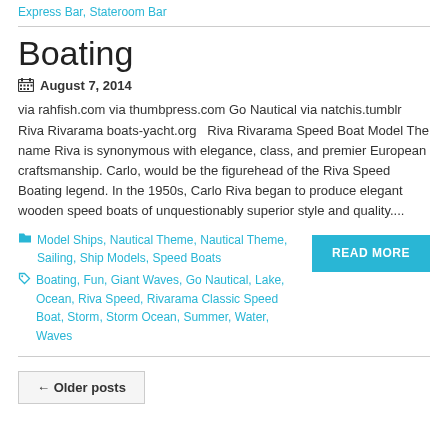Express Bar, Stateroom Bar
Boating
August 7, 2014
via rahfish.com via thumbpress.com Go Nautical via natchis.tumblr Riva Rivarama boats-yacht.org   Riva Rivarama Speed Boat Model The name Riva is synonymous with elegance, class, and premier European craftsmanship. Carlo, would be the figurehead of the Riva Speed Boating legend. In the 1950s, Carlo Riva began to produce elegant wooden speed boats of unquestionably superior style and quality....
Model Ships, Nautical Theme, Nautical Theme, Sailing, Ship Models, Speed Boats
Boating, Fun, Giant Waves, Go Nautical, Lake, Ocean, Riva Speed, Rivarama Classic Speed Boat, Storm, Storm Ocean, Summer, Water, Waves
READ MORE
← Older posts